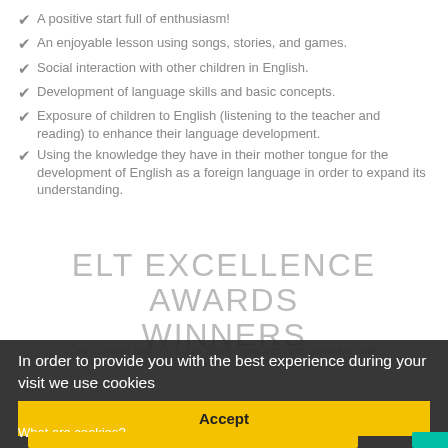A positive start full of enthusiasm!
An enjoyable lesson using songs, stories, and games.
Social interaction with other children in English.
Development of language skills and basic concepts.
Exposure of children to English (listening to the teacher and reading) to enhance their language development.
Using the knowledge they have in their mother tongue for the development of English as a foreign language in order to expand its understanding.
ELT EXCELLENCE AWARDS WINNERS
Our schools and the Lego Stories program are awarded with the ELT Excellence Awards (2022)
In order to provide you with the best experience during your visit we use cookies
Accept
What are cookies?